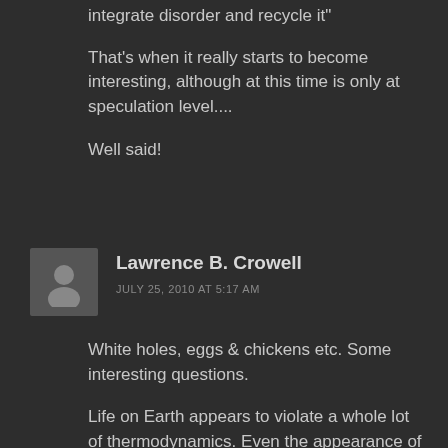integrate disorder and recycle it"
That's when it really starts to become interesting, although at this time is only at speculation level....
Well said!
Lawrence B. Crowell
JULY 25, 2010 AT 5:17 AM
White holes, eggs & chickens etc. Some interesting questions.
Life on Earth appears to violate a whole lot of thermodynamics. Even the appearance of a tree might be puzzling in a way, for most of its mass